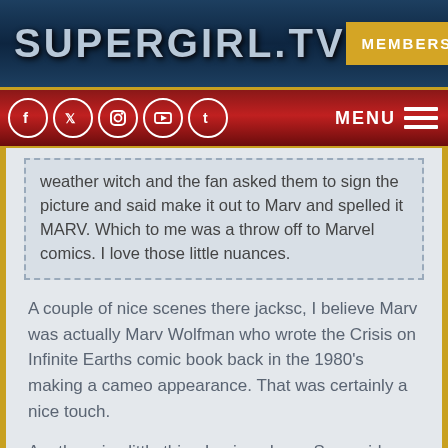SUPERGIRL.TV
MEMBERS
MENU
weather witch and the fan asked them to sign the picture and said make it out to Marv and spelled it MARV. Which to me was a throw off to Marvel comics. I love those little nuances.
A couple of nice scenes there jacksc, I believe Marv was actually Marv Wolfman who wrote the Crisis on Infinite Earths comic book back in the 1980's making a cameo appearance. That was certainly a nice touch.
Another nice little thing I enjoyed was Supergirl